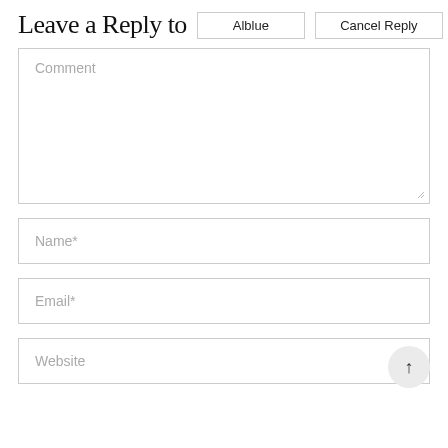Leave a Reply to Alblue Cancel Reply
Comment
Name*
Email*
Website